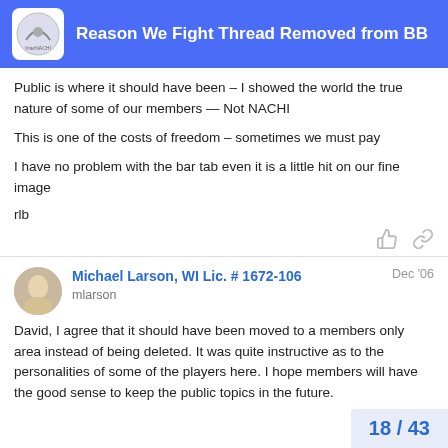Reason We Fight Thread Removed from BB
Public is where it should have been – I showed the world the true nature of some of our members — Not NACHI
This is one of the costs of freedom – sometimes we must pay
I have no problem with the bar tab even it is a little hit on our fine image
rlb
Michael Larson, WI Lic. # 1672-106
mlarson
Dec '06
David, I agree that it should have been moved to a members only area instead of being deleted. It was quite instructive as to the personalities of some of the players here. I hope members will have the good sense to keep the public topics in the future.
18 / 43